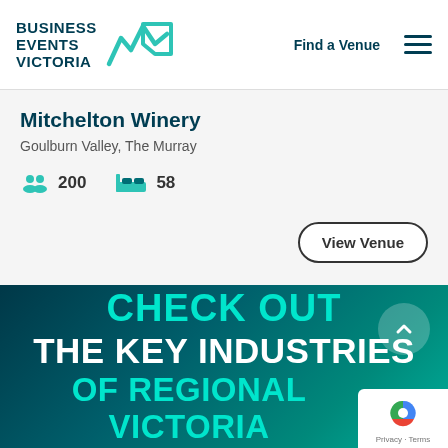BUSINESS EVENTS VICTORIA
Find a Venue
Mitchelton Winery
Goulburn Valley, The Murray
200
58
View Venue
CHECK OUT THE KEY INDUSTRIES OF REGIONAL VICTORIA